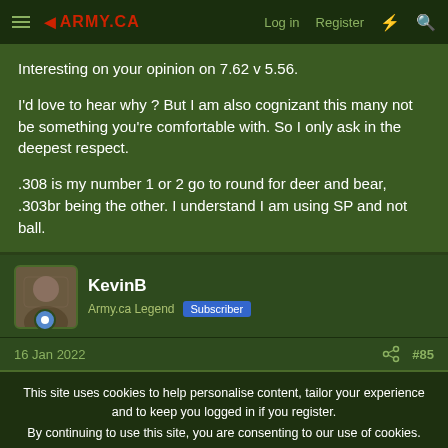ARMY.CA  Log in  Register
Interesting on your opinion on 7.62 v 5.56.

I'd love to hear why ? But I am also cognizant this many not be something you're comfortable with. So I only ask in the deepest respect.

.308 is my number 1 or 2 go to round for deer and bear, .303br being the other. I understand I am using SP and not ball.
KevinB
Army.ca Legend  Subscriber
16 Jan 2022  #85
This site uses cookies to help personalise content, tailor your experience and to keep you logged in if you register.
By continuing to use this site, you are consenting to our use of cookies.